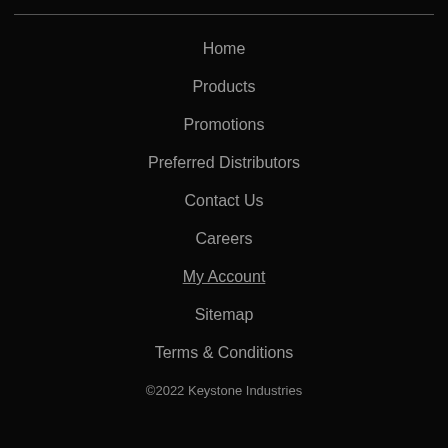Home
Products
Promotions
Preferred Distributors
Contact Us
Careers
My Account
Sitemap
Terms & Conditions
©2022 Keystone Industries